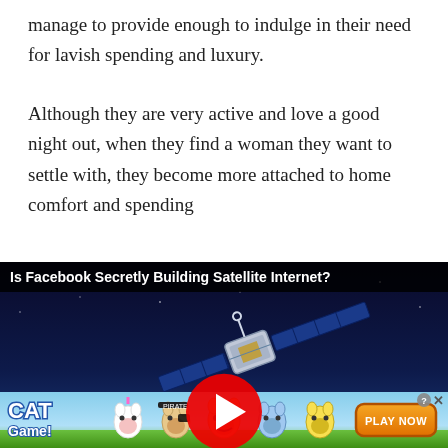manage to provide enough to indulge in their need for lavish spending and luxury.
Although they are very active and love a good night out, when they find a woman they want to settle with, they become more attached to home comfort and spending
[Figure (screenshot): Embedded video ad with title 'Is Facebook Secretly Building Satellite Internet?' showing a satellite in orbit above Earth with a red play button overlay]
[Figure (screenshot): Banner advertisement for 'Cat Game' mobile game showing cartoon cat characters and a 'PLAY NOW' button]